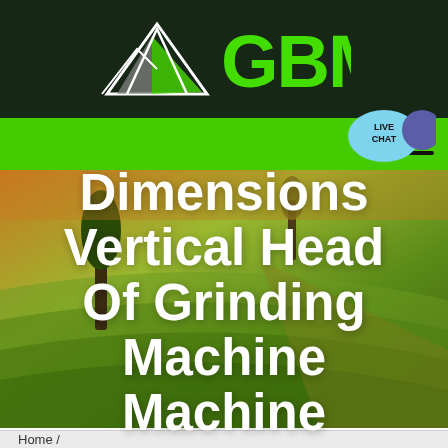GBM
[Figure (logo): GBM logo with mountain/triangle graphic in white and grey, and bright green GBM text, on dark green background]
Dimensions Vertical Head Of Grinding Machine Machine
Home /